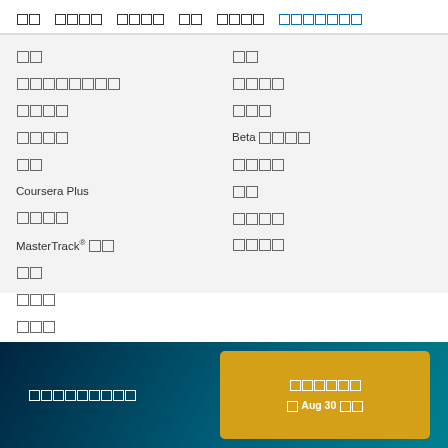[nav items with placeholder characters]
[placeholder] [placeholder]
[placeholder x8] [placeholder x4]
[placeholder x4] [placeholder x3]
[placeholder x4] Beta [placeholder x4]
[placeholder x2] [placeholder x4]
Coursera Plus [placeholder x2]
[placeholder x4] [placeholder x4]
MasterTrack® [placeholder x2] [placeholder x4]
[placeholder x2]
[placeholder x3]
[placeholder x3]
[placeholder x9] | [placeholder x6] [Aug 30 placeholder]